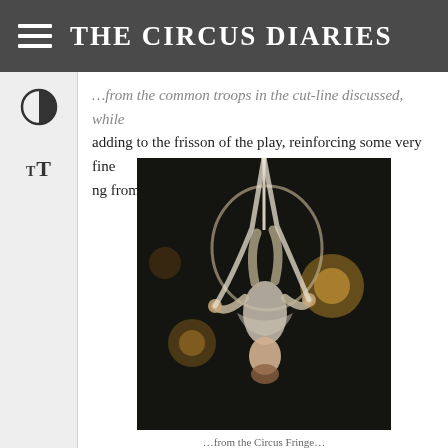THE CIRCUS DIARIES
…from the common troops in the cut-line discussed, while adding to the frisson of the play, reinforcing some very fine ng from the multi-role playing cast of six.
[Figure (photo): Aerial circus performer suspended upside down from aerial silks/rope in a dark stage setting with warm bokeh lights in the background. The performer is wearing light-colored clothing and gripping white fabric.]
…from the Circus Fringe…